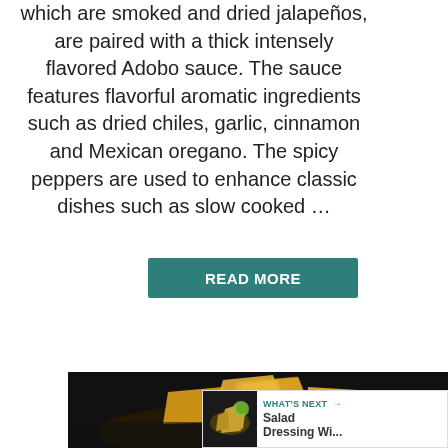which are smoked and dried jalapeños, are paired with a thick intensely flavored Adobo sauce. The sauce features flavorful aromatic ingredients such as dried chiles, garlic, cinnamon and Mexican oregano. The spicy peppers are used to enhance classic dishes such as slow cooked …
[Figure (other): READ MORE button in dark teal color]
[Figure (other): Heart/favorite icon button in teal circle, count '1', and share icon button]
[Figure (photo): Photo of tortilla chips in a dark bowl]
[Figure (other): WHAT'S NEXT panel showing Salad Dressing Wi... with thumbnail]